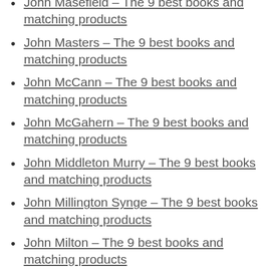John Masefield – The 9 best books and matching products
John Masters – The 9 best books and matching products
John McCann – The 9 best books and matching products
John McGahern – The 9 best books and matching products
John Middleton Murry – The 9 best books and matching products
John Millington Synge – The 9 best books and matching products
John Milton – The 9 best books and matching products